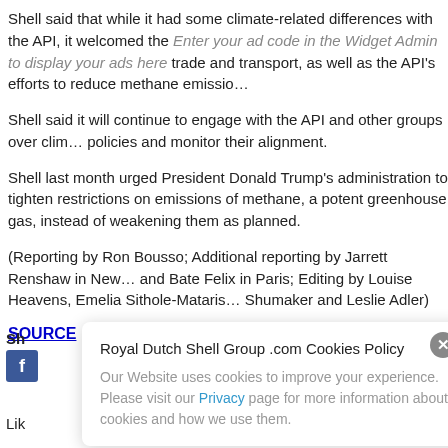Shell said that while it had some climate-related differences with the API, it welcomed the lobby's advocacy on a range of state and federal issues such as trade and transport, as well as the API's efforts to reduce methane emissions.
Enter your ad code in the Widget Admin to display your ads here
Shell said it will continue to engage with the API and other groups over climate policies and monitor their alignment.
Shell last month urged President Donald Trump's administration to tighten restrictions on emissions of methane, a potent greenhouse gas, instead of weakening them as planned.
(Reporting by Ron Bousso; Additional reporting by Jarrett Renshaw in New York and Bate Felix in Paris; Editing by Louise Heavens, Emelia Sithole-Mataris, Shumaker and Leslie Adler)
SOURCE
Sh
Lik
Royal Dutch Shell Group .com Cookies Policy
Our Website uses cookies to improve your experience. Please visit our Privacy page for more information about cookies and how we use them.